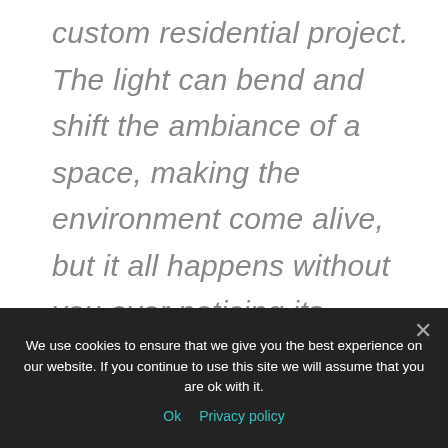custom residential project. The light can bend and shift the ambiance of a space, making the environment come alive, but it all happens without you ever noticing its presence. The best lighting designs, according to Spitz, are those that disappear while enriching everything
We use cookies to ensure that we give you the best experience on our website. If you continue to use this site we will assume that you are ok with it.
Ok  Privacy policy